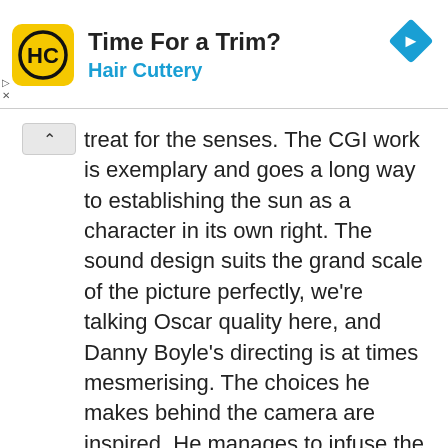[Figure (screenshot): Advertisement banner for Hair Cuttery with yellow logo containing 'HC', title 'Time For a Trim?', subtitle 'Hair Cuttery' in blue, and a blue diamond navigation icon on the right.]
treat for the senses. The CGI work is exemplary and goes a long way to establishing the sun as a character in its own right. The sound design suits the grand scale of the picture perfectly, we're talking Oscar quality here, and Danny Boyle's directing is at times mesmerising. The choices he makes behind the camera are inspired. He manages to infuse the screen with beauty, from the serene depictions of the ship at the beginning of the film to the extreme, jumpy, staccato, blurry and physically jarring work that comes later. It is all note perfect.